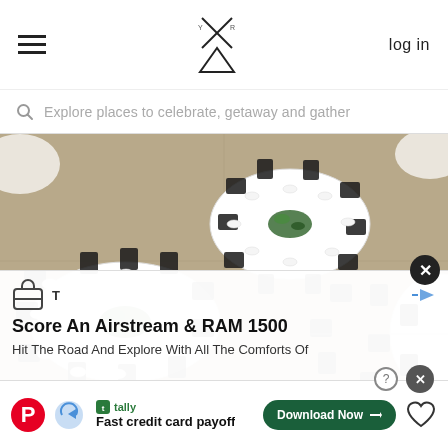hamburger menu | logo | log in
Explore places to celebrate, getaway and gather
[Figure (photo): Aerial view of a banquet hall with round tables covered in white tablecloths, black folding chairs, and green floral centerpieces]
Score An Airstream & RAM 1500
Hit The Road And Explore With All The Comforts Of
Fast credit card payoff
Download Now